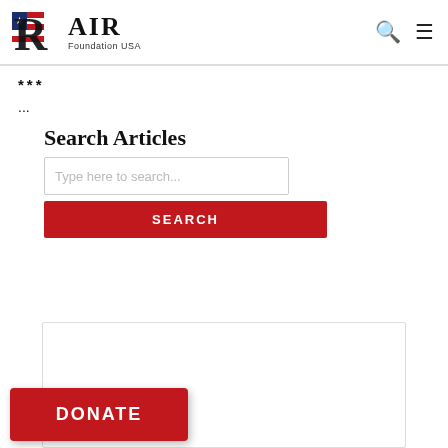RAIR Foundation USA
***
...
Search Articles
Type here to search...
SEARCH
[Figure (other): Empty white content box with border]
DONATE